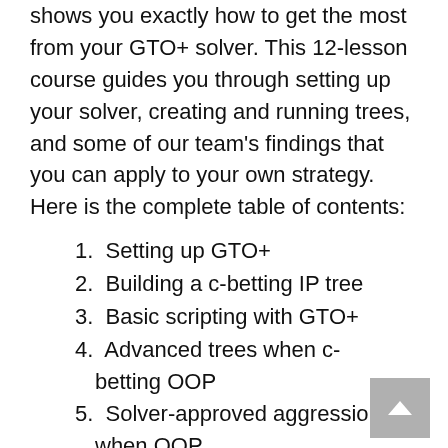shows you exactly how to get the most from your GTO+ solver. This 12-lesson course guides you through setting up your solver, creating and running trees, and some of our team's findings that you can apply to your own strategy. Here is the complete table of contents:
1. Setting up GTO+
2. Building a c-betting IP tree
3. Basic scripting with GTO+
4. Advanced trees when c-betting OOP
5. Solver-approved aggression when OOP
6. Simplifying turn barrels
7. Commitment ranges in 3-bet pots
8. Simplification in 3-bet pots
9. Bluffing rivers with GTO+ study